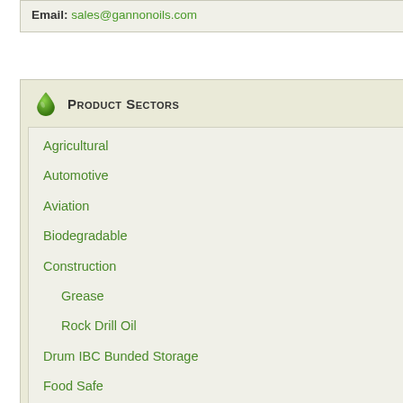Email: sales@gannonoils.com
Product Sectors
Agricultural
Automotive
Aviation
Biodegradable
Construction
Grease
Rock Drill Oil
Drum IBC Bunded Storage
Food Safe
Home & Hobby
Industrial
Machine Oil
Marine
Mining
Offshore